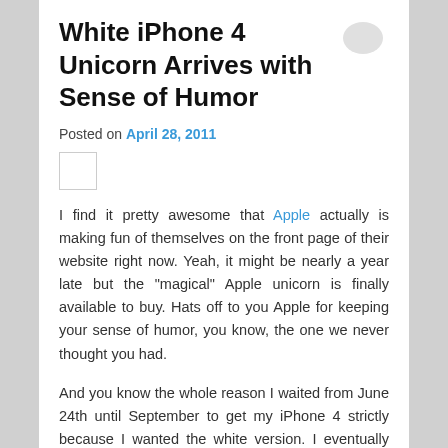White iPhone 4 Unicorn Arrives with Sense of Humor
Posted on April 28, 2011
[Figure (other): Small square image placeholder]
I find it pretty awesome that Apple actually is making fun of themselves on the front page of their website right now. Yeah, it might be nearly a year late but the “magical” Apple unicorn is finally available to buy. Hats off to you Apple for keeping your sense of humor, you know, the one we never thought you had.
And you know the whole reason I waited from June 24th until September to get my iPhone 4 strictly because I wanted the white version. I eventually gave up and honestly don’t care. For the first time ever I own a black